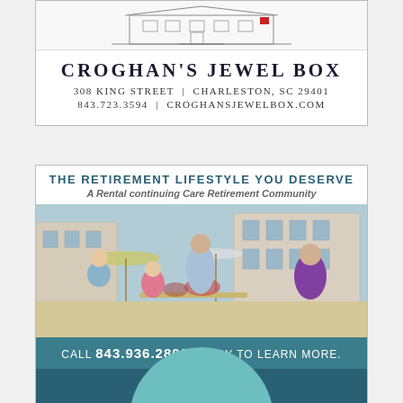[Figure (illustration): Croghan's Jewel Box advertisement with architectural line drawing of building facade at top, store name, address and website]
[Figure (infographic): South Bay at Mount Pleasant advertisement. Shows retirement community lifestyle: header 'The Retirement Lifestyle You Deserve / A Rental continuing Care Retirement Community', photo of older adults and children dining outdoors, call to action band with phone number 843.936.2800, South Bay logo on teal background, footer tagline.]
[Figure (illustration): Partial view of a teal circle at bottom of page, likely another advertisement beginning below the visible area.]